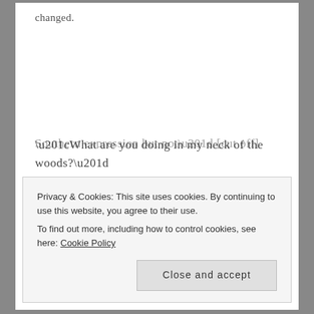changed.
“What are you doing in my neck of the woods?”
Forrest chuckled and crossed his arms. “Your woods again, huh?”
Sierra mirrored his posture. “‘Neck of the woods’ is a Southern expression but not” [cut off]
Privacy & Cookies: This site uses cookies. By continuing to use this website, you agree to their use.
To find out more, including how to control cookies, see here: Cookie Policy
Close and accept